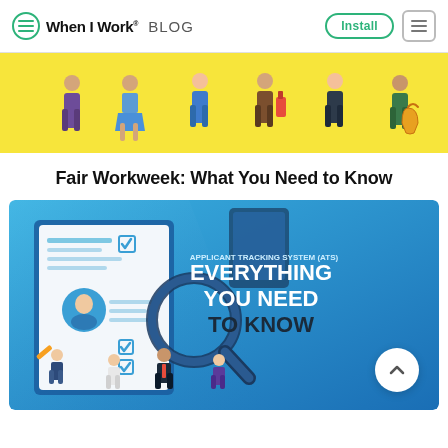When I Work® BLOG
[Figure (illustration): Illustrated banner showing diverse workers/employees standing in a row on a yellow background, representing various job roles.]
Fair Workweek: What You Need to Know
[Figure (illustration): Blue-themed illustration for 'Applicant Tracking System (ATS): Everything You Need to Know' showing a large document/form with a magnifying glass, people reviewing documents, a tablet device, and bold white/dark text on the right side.]